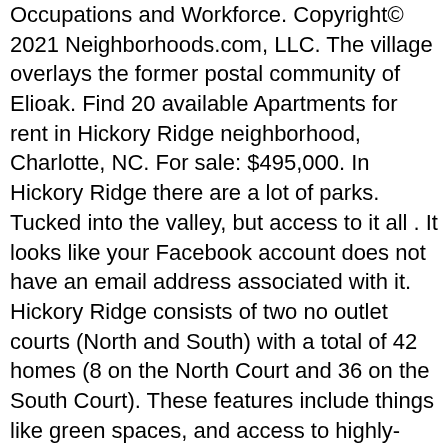Occupations and Workforce. Copyright© 2021 Neighborhoods.com, LLC. The village overlays the former postal community of Elioak. Find 20 available Apartments for rent in Hickory Ridge neighborhood, Charlotte, NC. For sale: $495,000. In Hickory Ridge there are a lot of parks. Tucked into the valley, but access to it all . It looks like your Facebook account does not have an email address associated with it. Hickory Ridge consists of two no outlet courts (North and South) with a total of 42 homes (8 on the North Court and 36 on the South Court). These features include things like green spaces, and access to highly-rated education opportunities. This results in very low traffic volume making this an ideal place for children of all ages to play worry free. With 421 neighborhoods in the metro Baltimore area, Hickory Ridge is one of the notable neighborhoods of Baltimore, Maryland. Hickory Ridge a new home neighborhood located in the gorgeous rolling hills of southern York County. Residents will elect one member to serve on the CA Board of Directors and five to sit on the Hickory Ridge Village Board. Homes for sale in Hickory Ridge, Rockwall, TX have a median listing price of $474,000. Hickory Ridge's https://en.m.open the region's